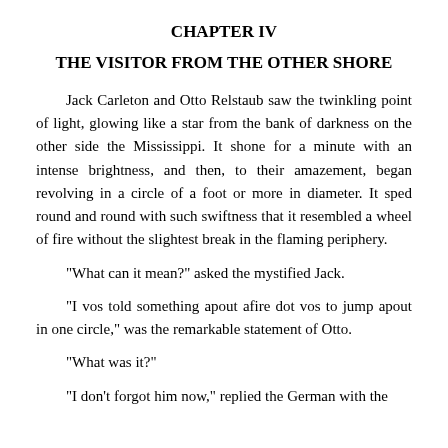CHAPTER IV
THE VISITOR FROM THE OTHER SHORE
Jack Carleton and Otto Relstaub saw the twinkling point of light, glowing like a star from the bank of darkness on the other side the Mississippi. It shone for a minute with an intense brightness, and then, to their amazement, began revolving in a circle of a foot or more in diameter. It sped round and round with such swiftness that it resembled a wheel of fire without the slightest break in the flaming periphery.
"What can it mean?" asked the mystified Jack.
"I vos told something apout afire dot vos to jump apout in one circle," was the remarkable statement of Otto.
"What was it?"
"I don't forgot him now," replied the German with the